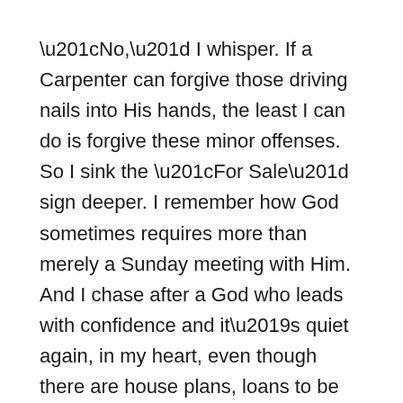“No,” I whisper. If a Carpenter can forgive those driving nails into His hands, the least I can do is forgive these minor offenses. So I sink the “For Sale” sign deeper. I remember how God sometimes requires more than merely a Sunday meeting with Him. And I chase after a God who leads with confidence and it’s quiet again, in my heart, even though there are house plans, loans to be secured, and new careers. Even though the noise and the busy come back, now that the days are getting shorter and the nights cooler.
But peace isn’t only found away from the chaos of life; the truest peace is found in trusting a God who guides us right through the chaos